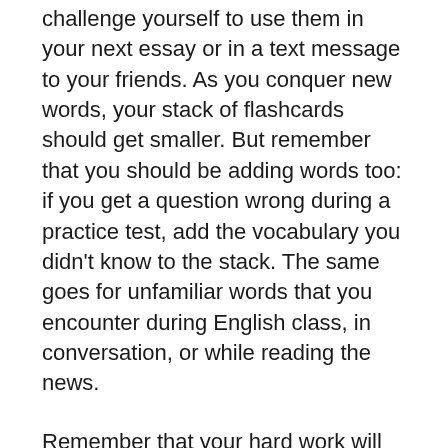challenge yourself to use them in your next essay or in a text message to your friends. As you conquer new words, your stack of flashcards should get smaller. But remember that you should be adding words too: if you get a question wrong during a practice test, add the vocabulary you didn't know to the stack. The same goes for unfamiliar words that you encounter during English class, in conversation, or while reading the news.
Remember that your hard work will pay off in a great score on the SAT reading. A good vocabulary will also yield big dividends in college! You'll have to face dense 100-page readings on sociology, literacy criticism, political science, history, and more, and you don't want to be reaching for the dictionary every two minutes. Plus, a good vocabulary allows